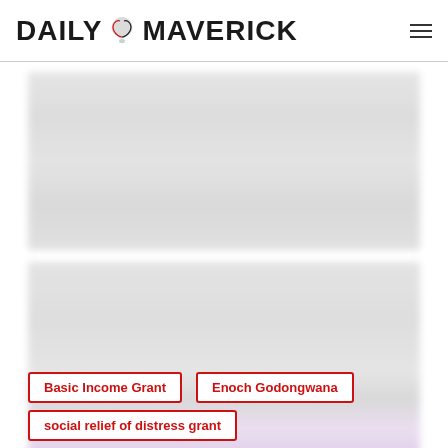DAILY MAVERICK
[Figure (other): Blurred/obscured article content block 1 - unreadable text]
[Figure (other): Blurred/obscured article content block 2 with purple/lavender tinted subscription prompt]
Basic Income Grant
Enoch Godongwana
social relief of distress grant